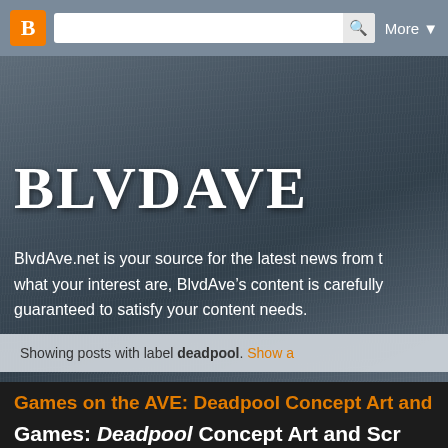Blogger navbar with search box and More button
BLVDAVE
BlvdAve.net is your source for the latest news from t[he world. No matter what your interest are, BlvdAve’s content is carefully [curated and] guaranteed to satisfy your content needs.
Showing posts with label deadpool. Show a[ll posts]
Monday, August 20, 2012
Games on the AVE: Deadpool Concept Art and TRAILE[R]
Games: Deadpool Concept Art and Scr[eenshots]